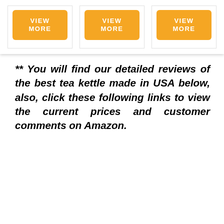[Figure (other): Three white cards each containing an orange rounded button labeled 'VIEW MORE' in bold white capital letters, arranged in a row inside a shadowed white container]
** You will find our detailed reviews of the best tea kettle made in USA below, also, click these following links to view the current prices and customer comments on Amazon.